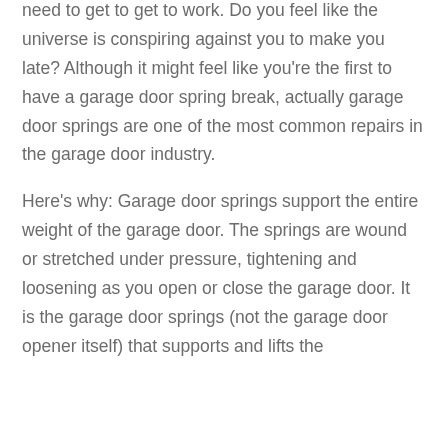need to get to get to work. Do you feel like the universe is conspiring against you to make you late? Although it might feel like you're the first to have a garage door spring break, actually garage door springs are one of the most common repairs in the garage door industry.
Here's why: Garage door springs support the entire weight of the garage door. The springs are wound or stretched under pressure, tightening and loosening as you open or close the garage door. It is the garage door springs (not the garage door opener itself) that supports and lifts the